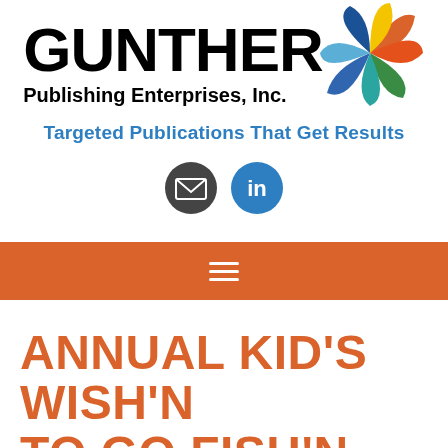[Figure (logo): Gunther Publishing Enterprises, Inc. logo with colorful pinwheel/fan graphic on the right side of bold black GUNTHER text]
Targeted Publications That Get Results
[Figure (infographic): Two social media icons: email envelope icon (dark circle) and LinkedIn icon (blue circle with 'in')]
☰ (hamburger menu on orange navigation bar)
ANNUAL KID'S WISH'N TO GO FISH'N